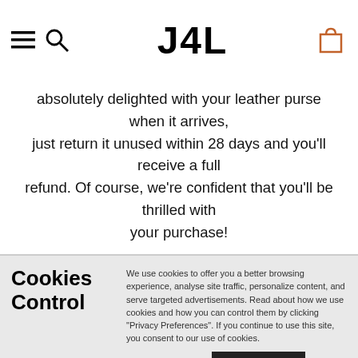J4L
absolutely delighted with your leather purse when it arrives, just return it unused within 28 days and you'll receive a full refund. Of course, we're confident that you'll be thrilled with your purchase!
Cookies Control
We use cookies to offer you a better browsing experience, analyse site traffic, personalize content, and serve targeted advertisements. Read about how we use cookies and how you can control them by clicking "Privacy Preferences". If you continue to use this site, you consent to our use of cookies.
Privacy Preference   ACCEPT